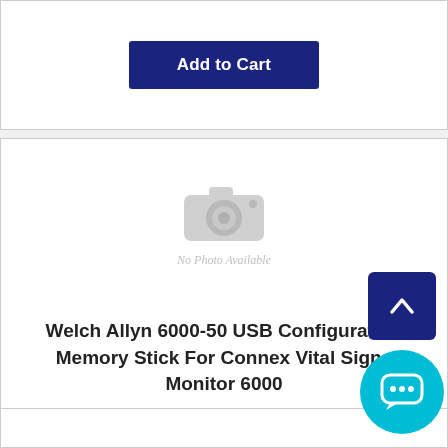[Figure (screenshot): Add to Cart button at top of page (partial product card)]
[Figure (photo): No Photo Available placeholder with camera icon]
Welch Allyn 6000-50 USB Configuration Memory Stick For Connex Vital Signs Monitor 6000
$46.95
[Figure (screenshot): Add to Cart button for the Welch Allyn product]
[Figure (screenshot): Scroll to top arrow button (dark blue)]
[Figure (screenshot): Live chat bubble button (teal)]